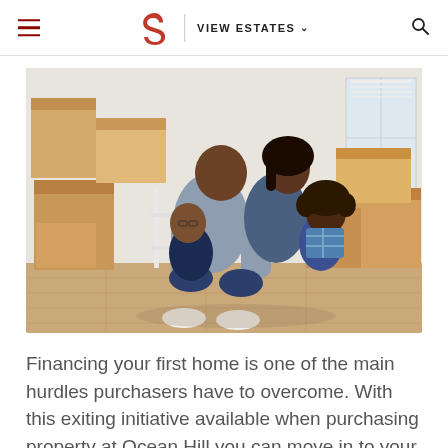VIEW ESTATES
[Figure (photo): A happy family of four — a father, mother, and two young children — sitting on a wooden floor surrounded by cardboard moving boxes in an empty room, smiling and laughing together.]
Financing your first home is one of the main hurdles purchasers have to overcome. With this exiting initiative available when purchasing property at Ocean Hill you can move in to your